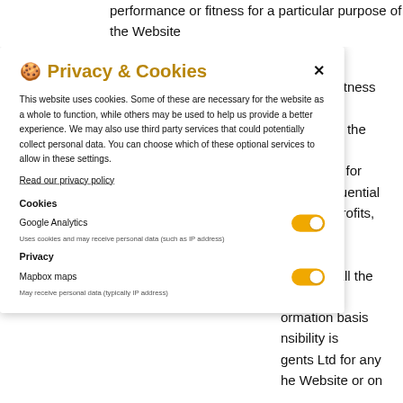performance or fitness for a particular purpose of the Website
ng but not
y quality, fitness
mpatibility,
e Terms to the
of law.
d be liable for
or consequential
, data or profits,
out of or in
sure that all the
the time of
ormation basis
nsibility is
gents Ltd for any
he Website or on
ant that the
ror free, that any
or the server
🍪 Privacy & Cookies
This website uses cookies. Some of these are necessary for the website as a whole to function, while others may be used to help us provide a better experience. We may also use third party services that could potentially collect personal data. You can choose which of these optional services to allow in these settings.
Read our privacy policy
Cookies
Google Analytics
Uses cookies and may receive personal data (such as IP address)
Privacy
Mapbox maps
May receive personal data (typically IP address)